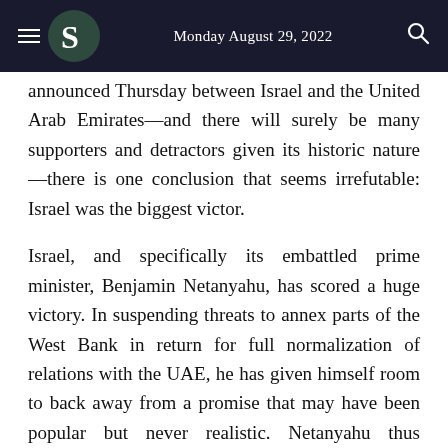Monday August 29, 2022
announced Thursday between Israel and the United Arab Emirates—and there will surely be many supporters and detractors given its historic nature—there is one conclusion that seems irrefutable: Israel was the biggest victor.
Israel, and specifically its embattled prime minister, Benjamin Netanyahu, has scored a huge victory. In suspending threats to annex parts of the West Bank in return for full normalization of relations with the UAE, he has given himself room to back away from a promise that may have been popular but never realistic. Netanyahu thus pocketed normalization with a rising Arab power in return for something he